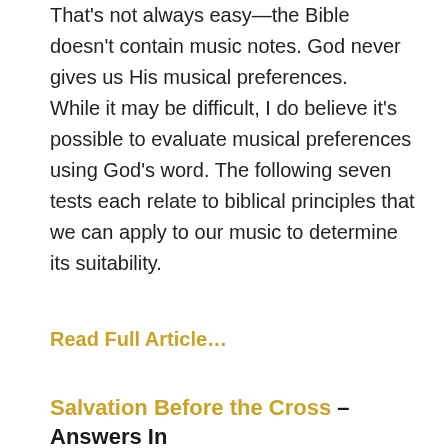That's not always easy—the Bible doesn't contain music notes. God never gives us His musical preferences. While it may be difficult, I do believe it's possible to evaluate musical preferences using God's word. The following seven tests each relate to biblical principles that we can apply to our music to determine its suitability.
Read Full Article…
Salvation Before the Cross – Answers In